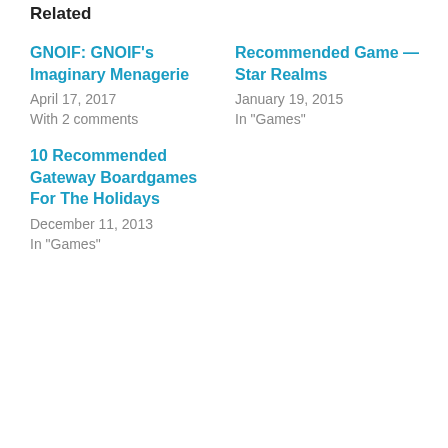Related
GNOIF: GNOIF's Imaginary Menagerie
April 17, 2017
With 2 comments
Recommended Game — Star Realms
January 19, 2015
In "Games"
10 Recommended Gateway Boardgames For The Holidays
December 11, 2013
In "Games"